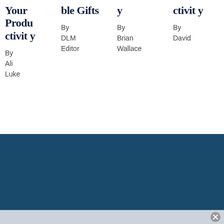Your Productivity
By Ali Luke
ble Gifts
By DLM Editor
y
By Brian Wallace
ctivity
By David
[Figure (other): Dark blue footer section with Facebook, Twitter, Instagram, and LinkedIn social media icons in white]